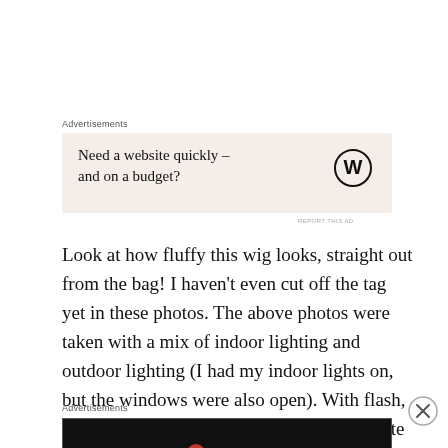Advertisements
[Figure (screenshot): Advertisement box with light beige background. Text reads 'Need a website quickly – and on a budget?' with WordPress logo on the right.]
REPORT THIS AD
Look at how fluffy this wig looks, straight out from the bag! I haven't even cut off the tag yet in these photos. The above photos were taken with a mix of indoor lighting and outdoor lighting (I had my indoor lights on, but the windows were also open). With flash, the color is a bright vibrant orange, and quite shiny. But without flash,
Advertisements
[Figure (screenshot): Advertisement box with black background. Shows Longreads logo (red circle with L) and text 'LONGREADS' and tagline 'Read anything great lately?']
REPORT THIS AD